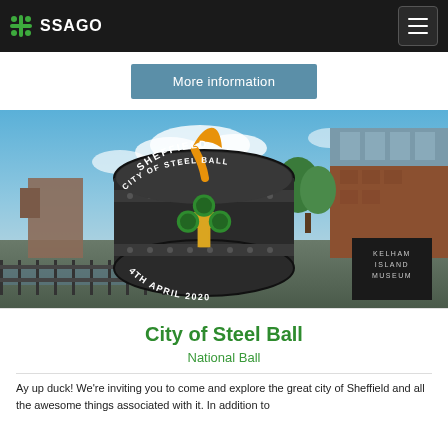SSAGO
More information
[Figure (photo): Photo of Kelham Island Museum area in Sheffield with a City of Steel Ball badge logo overlaid. The badge is a dark steel drum shape with text SHEFFIELD CITY OF STEEL BALL 4TH APRIL 2020 and a green and yellow Scout fleur-de-lis. Background shows the brick museum building with Kelham Island Museum sign, sky with clouds, and canal/river infrastructure with metal fencing.]
City of Steel Ball
National Ball
Ay up duck! We're inviting you to come and explore the great city of Sheffield and all the awesome things associated with it. In addition to